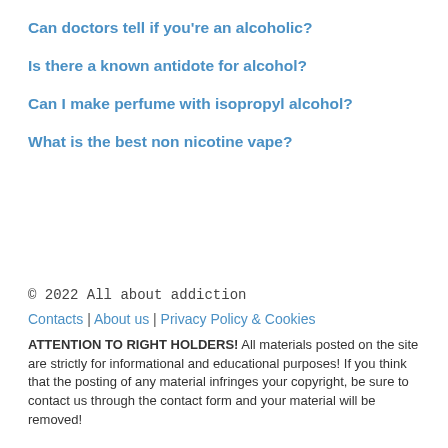Can doctors tell if you're an alcoholic?
Is there a known antidote for alcohol?
Can I make perfume with isopropyl alcohol?
What is the best non nicotine vape?
© 2022 All about addiction
Contacts | About us | Privacy Policy & Cookies
ATTENTION TO RIGHT HOLDERS! All materials posted on the site are strictly for informational and educational purposes! If you think that the posting of any material infringes your copyright, be sure to contact us through the contact form and your material will be removed!